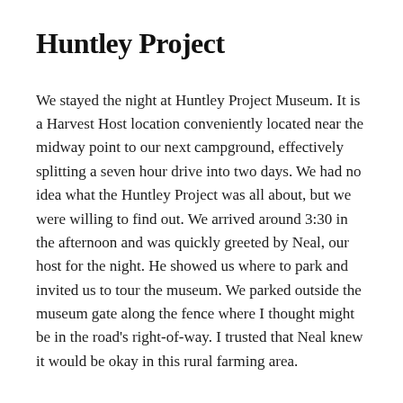Huntley Project
We stayed the night at Huntley Project Museum. It is a Harvest Host location conveniently located near the midway point to our next campground, effectively splitting a seven hour drive into two days. We had no idea what the Huntley Project was all about, but we were willing to find out. We arrived around 3:30 in the afternoon and was quickly greeted by Neal, our host for the night. He showed us where to park and invited us to tour the museum. We parked outside the museum gate along the fence where I thought might be in the road's right-of-way. I trusted that Neal knew it would be okay in this rural farming area.